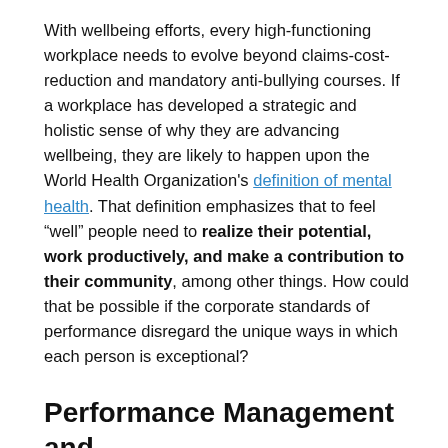With wellbeing efforts, every high-functioning workplace needs to evolve beyond claims-cost-reduction and mandatory anti-bullying courses. If a workplace has developed a strategic and holistic sense of why they are advancing wellbeing, they are likely to happen upon the World Health Organization's definition of mental health. That definition emphasizes that to feel “well” people need to realize their potential, work productively, and make a contribution to their community, among other things. How could that be possible if the corporate standards of performance disregard the unique ways in which each person is exceptional?
Performance Management and Competencies
This research raises questions about performance measurement against prescribed competencies. Yes,